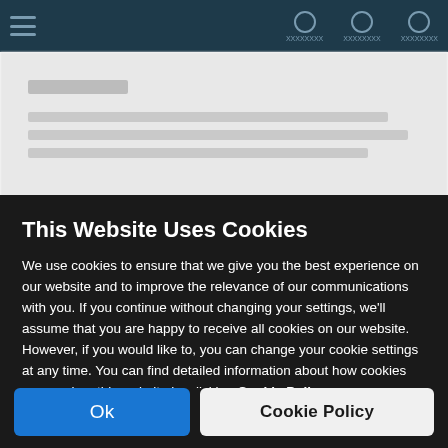[Figure (screenshot): Blurred website background with dark blue navigation bar at top and grayed out content area below]
This Website Uses Cookies
We use cookies to ensure that we give you the best experience on our website and to improve the relevance of our communications with you. If you continue without changing your settings, we'll assume that you are happy to receive all cookies on our website. However, if you would like to, you can change your cookie settings at any time. You can find detailed information about how cookies are used on this website by clicking Cookie Policy.
Ok
Cookie Policy